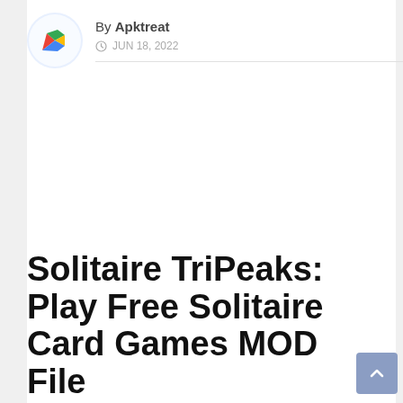[Figure (logo): Google Play Store logo — circular icon with play triangle in red, green, blue, yellow on light blue/white circular background]
By Apktreat
JUN 18, 2022
Solitaire TriPeaks: Play Free Solitaire Card Games MOD File Information